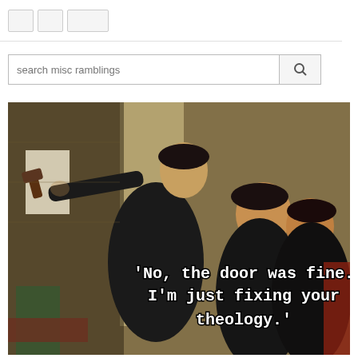[navigation buttons]
search misc ramblings
[Figure (photo): A meme using a historical painting (depicting Martin Luther nailing theses to a door, holding a hammer, with two onlookers behind him) with overlaid text reading: 'No, the door was fine. I'm just fixing your theology.']
'No, the door was fine. I'm just fixing your theology.'